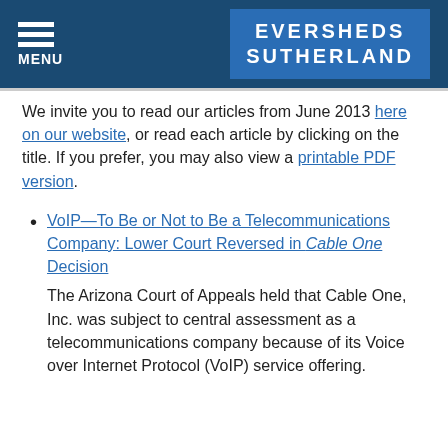MENU | EVERSHEDS SUTHERLAND
We invite you to read our articles from June 2013 here on our website, or read each article by clicking on the title. If you prefer, you may also view a printable PDF version.
VoIP—To Be or Not to Be a Telecommunications Company: Lower Court Reversed in Cable One Decision
The Arizona Court of Appeals held that Cable One, Inc. was subject to central assessment as a telecommunications company because of its Voice over Internet Protocol (VoIP) service offering.